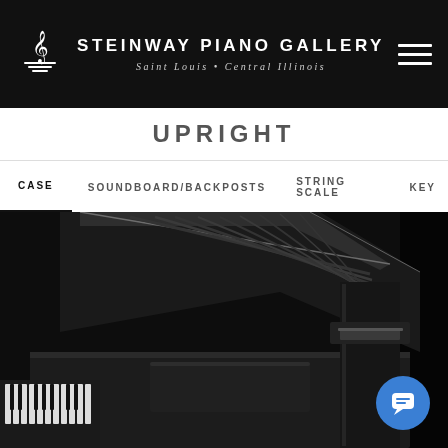STEINWAY PIANO GALLERY
Saint Louis • Central Illinois
UPRIGHT (partial)
CASE   SOUNDBOARD/BACKPOSTS   STRING SCALE   KEY
[Figure (photo): Close-up black and white photograph of a grand piano case, showing the polished black lacquer finish, keyboard lid, and structural elements in dramatic lighting against a dark background.]